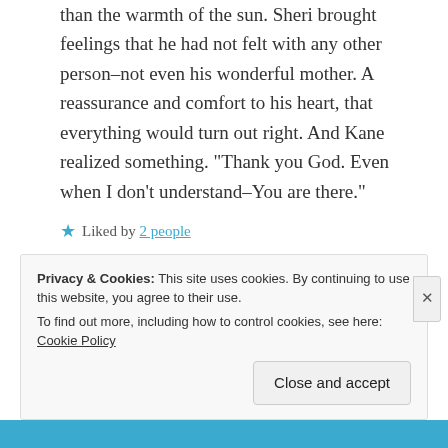than the warmth of the sun. Sheri brought feelings that he had not felt with any other person–not even his wonderful mother. A reassurance and comfort to his heart, that everything would turn out right. And Kane realized something. “Thank you God. Even when I don't understand–You are there.”
Liked by 2 people
REPLY
Privacy & Cookies: This site uses cookies. By continuing to use this website, you agree to their use. To find out more, including how to control cookies, see here: Cookie Policy
Close and accept